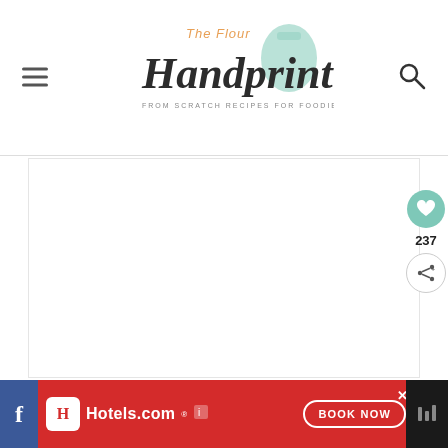The Flour Handprint — From Scratch Recipes for Foodies and Their Families
[Figure (other): Main content white rectangle placeholder area]
[Figure (other): Heart/like button (teal circle with heart icon) showing count 237, and share button below]
[Figure (other): Hotels.com advertisement banner in red with BOOK NOW button]